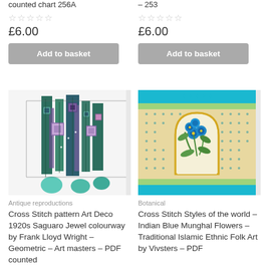counted chart 256A
– 253
☆☆☆☆☆
☆☆☆☆☆
£6.00
£6.00
Add to basket
Add to basket
[Figure (illustration): Cross stitch pattern showing Art Deco geometric design in teal, purple, and green colors inspired by Frank Lloyd Wright architecture]
[Figure (illustration): Cross stitch pattern showing Indian Blue Mughal Flowers with traditional Islamic ethnic folk art design featuring blue flowers on cream background with turquoise border]
Antique reproductions
Botanical
Cross Stitch pattern Art Deco 1920s Saguaro Jewel colourway by Frank Lloyd Wright – Geometric – Art masters – PDF counted
Cross Stitch Styles of the world – Indian Blue Munghal Flowers – Traditional Islamic Ethnic Folk Art by Vivsters – PDF